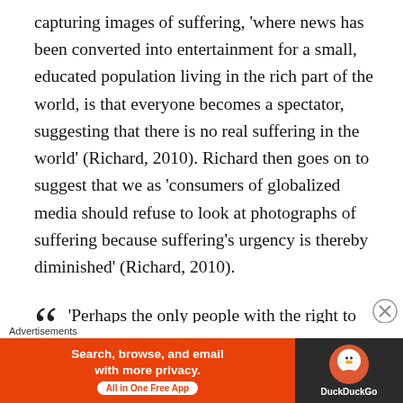capturing images of suffering, 'where news has been converted into entertainment for a small, educated population living in the rich part of the world, is that everyone becomes a spectator, suggesting that there is no real suffering in the world' (Richard, 2010). Richard then goes on to suggest that we as 'consumers of globalized media should refuse to look at photographs of suffering because suffering's urgency is thereby diminished' (Richard, 2010).
'Perhaps the only people with the right to look at images of suffering, are those who could do
[Figure (other): DuckDuckGo advertisement banner: orange left panel with text 'Search, browse, and email with more privacy. All in One Free App', dark right panel with DuckDuckGo logo and name.]